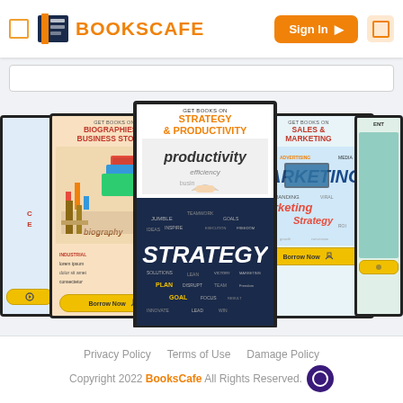BOOKSCAFE | Sign In
[Figure (screenshot): BooksCafe website screenshot showing book category carousel with Biographies & Business Stories, Strategy & Productivity, and Sales & Marketing cards]
Privacy Policy   Terms of Use   Damage Policy   Copyright 2022 BooksCafe All Rights Reserved.